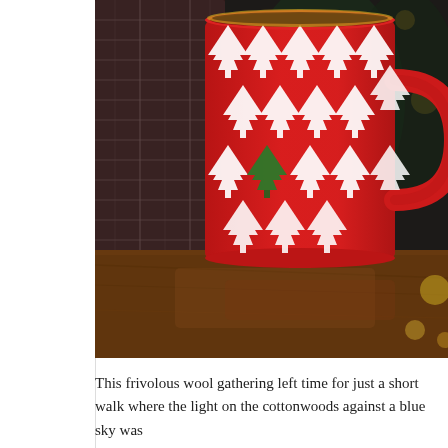[Figure (photo): A red ceramic Christmas mug covered with white Christmas tree silhouettes and one green tree, sitting on a wooden table. In the background is a dark plaid/knit item and a bokeh Christmas tree with lights.]
This frivolous wool gathering left time for just a short walk where the light on the cottonwoods against a blue sky was